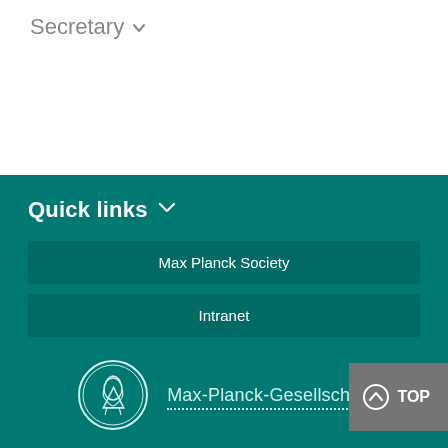Secretary ∨
Quick links ∨
Max Planck Society
Intranet
[Figure (logo): Max-Planck-Gesellschaft circular logo with Minerva profile]
Max-Planck-Gesellschaft
Imprint
Data Protection Advice
© 2022, Max-Planck-Gesellschaft